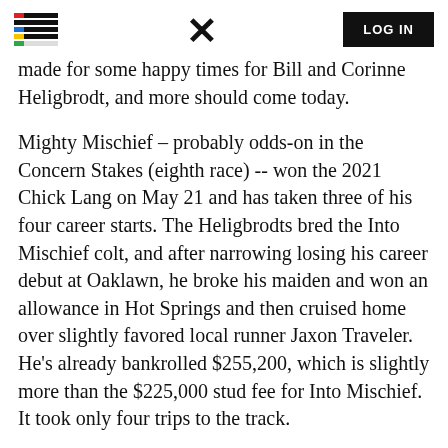LOG IN
made for some happy times for Bill and Corinne Heligbrodt, and more should come today.
Mighty Mischief – probably odds-on in the Concern Stakes (eighth race) -- won the 2021 Chick Lang on May 21 and has taken three of his four career starts. The Heligbrodts bred the Into Mischief colt, and after narrowing losing his career debut at Oaklawn, he broke his maiden and won an allowance in Hot Springs and then cruised home over slightly favored local runner Jaxon Traveler. He's already bankrolled $255,200, which is slightly more than the $225,000 stud fee for Into Mischief. It took only four trips to the track.
Two races later, Yaupon leads the pack postward in the Lite the Fuse Stakes and looks to get back to